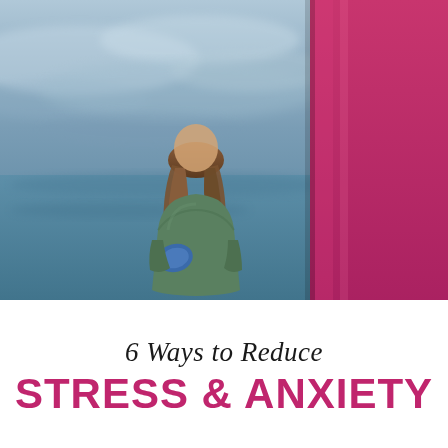[Figure (photo): A young woman with long brown hair seen from behind, wearing a green jacket and holding a blue item, sitting near a large pink/magenta wall panel with a cloudy blue-grey sky and water in the background.]
6 Ways to Reduce STRESS & ANXIETY